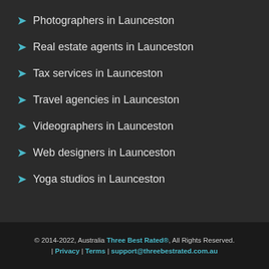Photographers in Launceston
Real estate agents in Launceston
Tax services in Launceston
Travel agencies in Launceston
Videographers in Launceston
Web designers in Launceston
Yoga studios in Launceston
© 2014-2022, Australia Three Best Rated®, All Rights Reserved. | Privacy | Terms | support@threebestrated.com.au